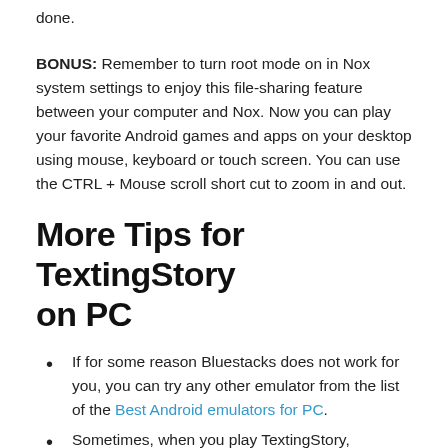done.
BONUS: Remember to turn root mode on in Nox system settings to enjoy this file-sharing feature between your computer and Nox. Now you can play your favorite Android games and apps on your desktop using mouse, keyboard or touch screen. You can use the CTRL + Mouse scroll short cut to zoom in and out.
More Tips for TextingStory on PC
If for some reason Bluestacks does not work for you, you can try any other emulator from the list of the Best Android emulators for PC.
Sometimes, when you play TextingStory,